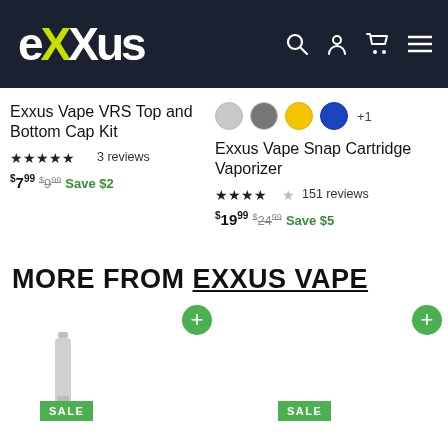eXus navigation bar with logo and icons
Exxus Vape VRS Top and Bottom Cap Kit
4.8 stars, 3 reviews
$7.99 $9.99 Save $2
Exxus Vape Snap Cartridge Vaporizer
4.5 stars, 151 reviews
$19.99 $24.99 Save $5
Exxus V... Nectar...
$19.99
MORE FROM EXXUS VAPE
[Figure (photo): Product image area showing a vaporizer device with SALE badge and + button]
[Figure (photo): Second product image area showing another vaporizer product with SALE badge and + button]